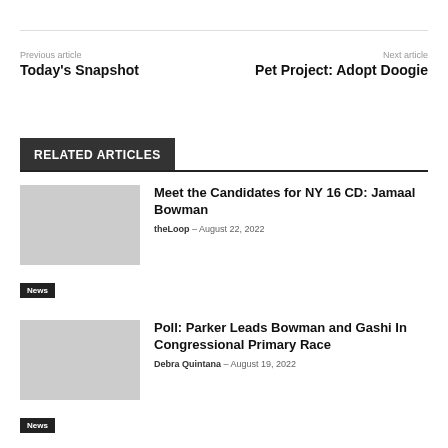Previous article
Today's Snapshot
Next article
Pet Project: Adopt Doogie
RELATED ARTICLES
Meet the Candidates for NY 16 CD: Jamaal Bowman
theLoop - August 22, 2022
News
Poll: Parker Leads Bowman and Gashi In Congressional Primary Race
Debra Quintana - August 19, 2022
News